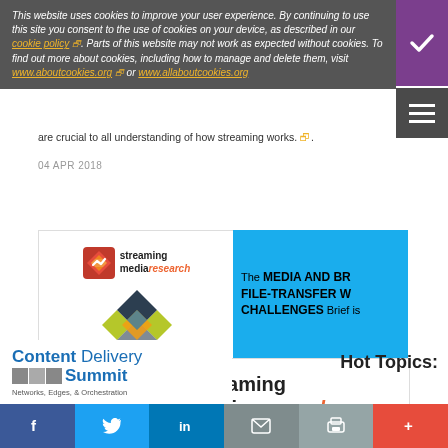This website uses cookies to improve your user experience. By continuing to use this site you consent to the use of cookies on your device, as described in our cookie policy. Parts of this website may not work as expected without cookies. To find out more about cookies, including how to manage and delete them, visit www.aboutcookies.org or www.allaboutcookies.org.
are crucial to all understanding of how streaming works.
04 APR 2018
[Figure (logo): Streaming Media Research logo (small) with diamond graphic]
[Figure (infographic): Blue banner: The MEDIA AND BR... FILE-TRANSFER W... CHALLENGES Brief is ...]
[Figure (logo): Streaming Media Research large logo with red arrow icon]
SPONSORED BY
[Figure (logo): Content Delivery Summit - Networks, Edges, & Orchestration logo]
Hot Topics:
f  t  in  [email]  [print]  +